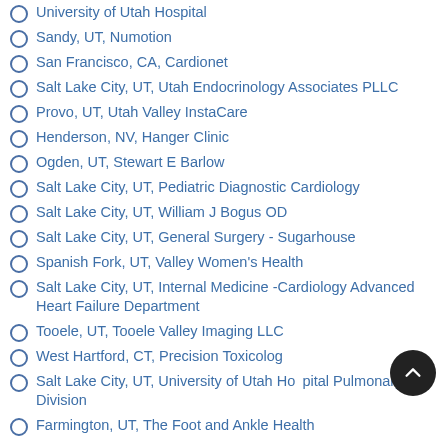University of Utah Hospital
Sandy, UT, Numotion
San Francisco, CA, Cardionet
Salt Lake City, UT, Utah Endocrinology Associates PLLC
Provo, UT, Utah Valley InstaCare
Henderson, NV, Hanger Clinic
Ogden, UT, Stewart E Barlow
Salt Lake City, UT, Pediatric Diagnostic Cardiology
Salt Lake City, UT, William J Bogus OD
Salt Lake City, UT, General Surgery - Sugarhouse
Spanish Fork, UT, Valley Women's Health
Salt Lake City, UT, Internal Medicine -Cardiology Advanced Heart Failure Department
Tooele, UT, Tooele Valley Imaging LLC
West Hartford, CT, Precision Toxicology
Salt Lake City, UT, University of Utah Hospital Pulmonary Division
Farmington, UT, The Foot and Ankle Health